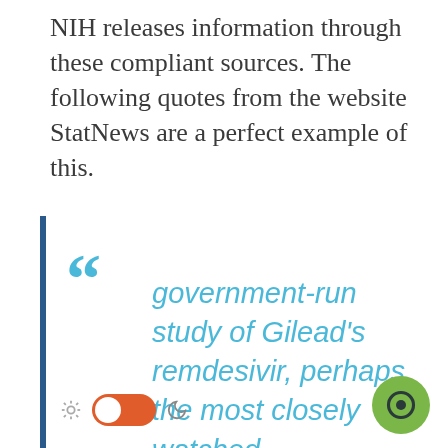NIH releases information through these compliant sources. The following quotes from the website StatNews are a perfect example of this.
government-run study of Gilead's remdesivir, perhaps the most closely watched